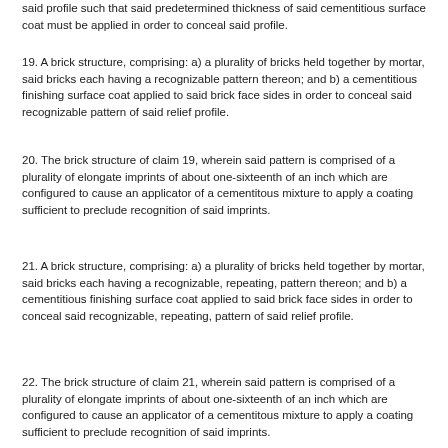said profile such that said predetermined thickness of said cementitious surface coat must be applied in order to conceal said profile.
19. A brick structure, comprising: a) a plurality of bricks held together by mortar, said bricks each having a recognizable pattern thereon; and b) a cementitious finishing surface coat applied to said brick face sides in order to conceal said recognizable pattern of said relief profile.
20. The brick structure of claim 19, wherein said pattern is comprised of a plurality of elongate imprints of about one-sixteenth of an inch which are configured to cause an applicator of a cementitous mixture to apply a coating sufficient to preclude recognition of said imprints.
21. A brick structure, comprising: a) a plurality of bricks held together by mortar, said bricks each having a recognizable, repeating, pattern thereon; and b) a cementitious finishing surface coat applied to said brick face sides in order to conceal said recognizable, repeating, pattern of said relief profile.
22. The brick structure of claim 21, wherein said pattern is comprised of a plurality of elongate imprints of about one-sixteenth of an inch which are configured to cause an applicator of a cementitous mixture to apply a coating sufficient to preclude recognition of said imprints.